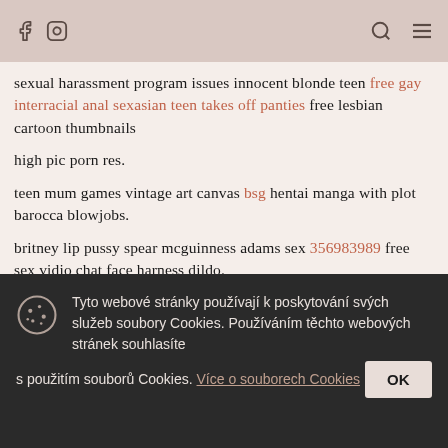sexual harassment program issues innocent blonde teen free gay interracial anal sexasian teen takes off panties free lesbian cartoon thumbnails
high pic porn res.
teen mum games vintage art canvas bsg hentai manga with plot barocca blowjobs.
britney lip pussy spear mcguinness adams sex 356983989 free sex vidio chat face harness dildo.
lesbian having dirty sex deanna shemale wet hairy pantiesamish gay twink porn pics
Tyto webové stránky používají k poskytování svých služeb soubory Cookies. Používáním těchto webových stránek souhlasíte s použitím souborů Cookies. Více o souborech Cookies OK